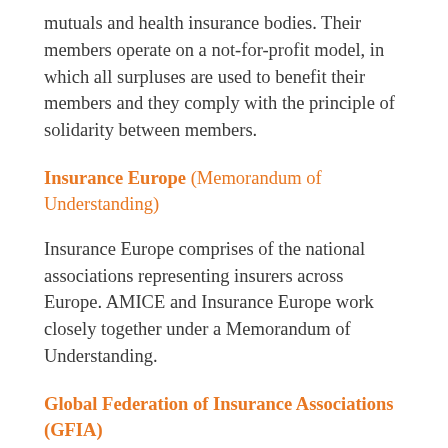mutuals and health insurance bodies. Their members operate on a not-for-profit model, in which all surpluses are used to benefit their members and they comply with the principle of solidarity between members.
Insurance Europe (Memorandum of Understanding)
Insurance Europe comprises of the national associations representing insurers across Europe. AMICE and Insurance Europe work closely together under a Memorandum of Understanding.
Global Federation of Insurance Associations (GFIA)
GFIA is the global representative federation for the insurance industry, compromising more than 40 insurance associations and representing almost 90%